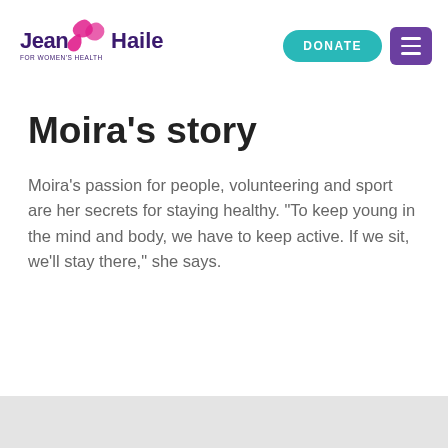[Figure (logo): Jean Hailes for Women's Health logo with pink and magenta bird/wing motif and purple/dark text]
DONATE | menu
Moira’s story
Moira’s passion for people, volunteering and sport are her secrets for staying healthy. “To keep young in the mind and body, we have to keep active. If we sit, we’ll stay there,” she says.